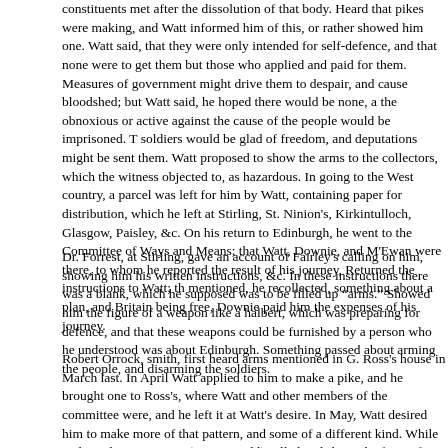constituents met after the dissolution of that body. Heard that pikes were making, and Watt informed him of this, or rather showed him one. Watt said, that they were only intended for self-defence, and that none were to get them but those who applied and paid for them. Measures of government might drive them to despair, and cause bloodshed; but Watt said, he hoped there would be none, as the obnoxious or active against the cause of the people would be imprisoned. The soldiers would be glad of freedom, and deputations might be sent them. Watt proposed to show the arms to the collectors, which the witness objected to, as hazardous. In going to the West country, a parcel was left for him by Watt, containing paper for distribution, which he left at Stirling, St. Ninion's, Kirkintulloch, Glasgow, Paisley, &c. On his return to Edinburgh, he went to the Committee of Ways and Means; that Watt, Downie, and M'Ewan were there, to whom he reported the result of his journey, Returned the instructions to Watt; the mentioned, he recollected, something about a plan, and Britain being free, Downie paid him the expenses of his journey.
Dr. Forrest, at Stirling, gave an account of Fairley's calling on him, showing him his written instructions, &c. In these instructions there was a blank, which he supposed was to be filled up "arms." Showed him the figure of a weapon like a halbert, which was preparing for defence, and that these weapons could be furnished by a person who he understood was about Edinburgh. Something passed about arming the people, and disarming the soldiers.
Robert Orrock, smith, first heard arms mentioned in G. Ross's house in March last. In April Watt applied to him to make a pike, and he brought one to Ross's, where Watt and other members of the committee were, and he left it at Watt's desire. In May, Watt desired him to make more of that pattern, and some of a different kind. While making them, a person (Martin Todd) called and showed a form of a pike, which he refused to make. Brown also called, and told him he was making pikes for Watt, and that 1000 were wanted: but spoke of this as a secret, which alarmed the witness. The extent of his order was five dozen which were, ordered by Watt, but paid for by Downie. He got a knife, originally belonged to